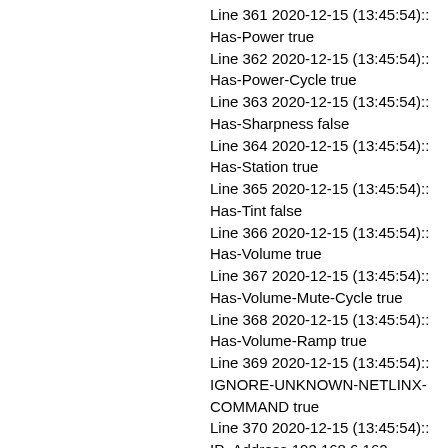Line 361 2020-12-15 (13:45:54):: Has-Power true
Line 362 2020-12-15 (13:45:54):: Has-Power-Cycle true
Line 363 2020-12-15 (13:45:54):: Has-Sharpness false
Line 364 2020-12-15 (13:45:54):: Has-Station true
Line 365 2020-12-15 (13:45:54):: Has-Tint false
Line 366 2020-12-15 (13:45:54):: Has-Volume true
Line 367 2020-12-15 (13:45:54):: Has-Volume-Mute-Cycle true
Line 368 2020-12-15 (13:45:54):: Has-Volume-Ramp true
Line 369 2020-12-15 (13:45:54):: IGNORE-UNKNOWN-NETLINX-COMMAND true
Line 370 2020-12-15 (13:45:54):: IP_Address 192.168.6.162
Line 371 2020-12-15 (13:45:54):: Password 6HWDIRNZ
Line 372 2020-12-15 (13:45:54):: Poll_Time 10000
Line 373 2020-12-15 (13:45:54):: Port 9761
Line 374 2020-12-15 (13:45:54):: Queue_Interval_MS 200